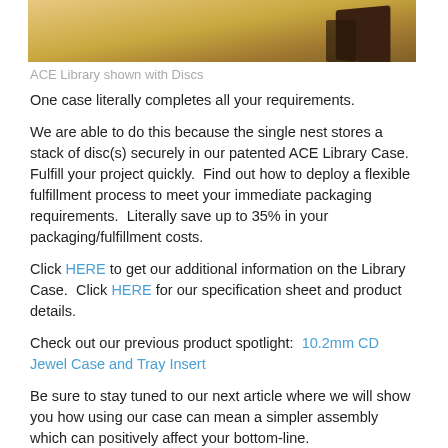[Figure (photo): Top portion of a photo showing ACE Library Case with discs on a golden/tan surface, partially cropped at the top of the page.]
ACE Library shown with Discs
One case literally completes all your requirements.
We are able to do this because the single nest stores a stack of disc(s) securely in our patented ACE Library Case.  Fulfill your project quickly.  Find out how to deploy a flexible fulfillment process to meet your immediate packaging requirements.  Literally save up to 35% in your packaging/fulfillment costs.
Click HERE to get our additional information on the Library Case.  Click HERE for our specification sheet and product details.
Check out our previous product spotlight:  10.2mm CD Jewel Case and Tray Insert
Be sure to stay tuned to our next article where we will show you how using our case can mean a simpler assembly which can positively affect your bottom-line.
Share this: